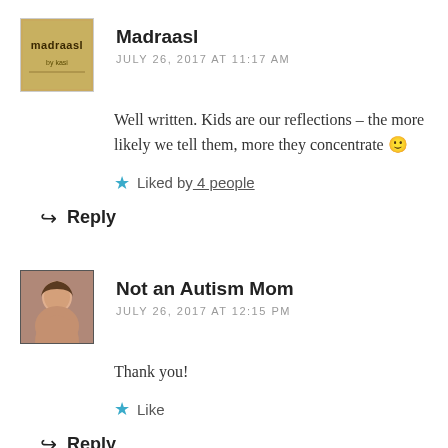[Figure (photo): Avatar image for Madraasl user - tan/gold colored logo with text 'madraasl']
Madraasl
JULY 26, 2017 AT 11:17 AM
Well written. Kids are our reflections – the more likely we tell them, more they concentrate 🙂
★ Liked by 4 people
↩ Reply
[Figure (photo): Avatar photo of a woman with hair - Not an Autism Mom profile picture]
Not an Autism Mom
JULY 26, 2017 AT 12:15 PM
Thank you!
★ Like
↩ Reply